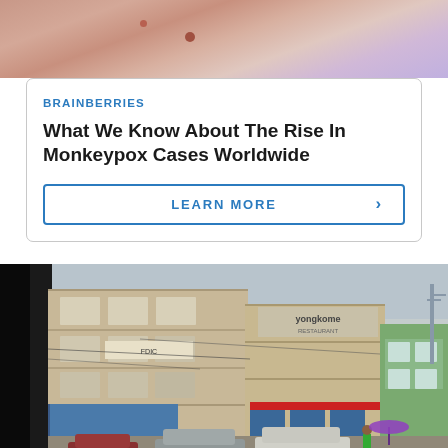[Figure (photo): Close-up photo of skin showing a monkeypox lesion/bump]
BRAINBERRIES
What We Know About The Rise In Monkeypox Cases Worldwide
LEARN MORE
[Figure (photo): Street scene photo showing multi-story commercial buildings with shops, parked cars, and a green residential building on the right, taken from inside a vehicle]